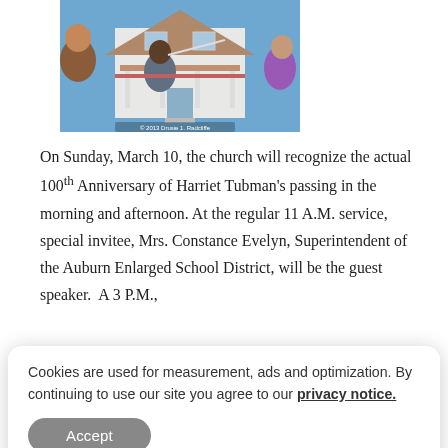[Figure (photo): A man in a grey sweatshirt gesturing toward a white two-story house with a porch, while two women look on, under a blue sky.]
On Sunday, March 10, the church will recognize the actual 100th Anniversary of Harriet Tubman's passing in the morning and afternoon. At the regular 11 A.M. service, special invitee, Mrs. Constance Evelyn, Superintendent of the Auburn Enlarged School District, will be the guest speaker.  A 3 P.M.,
Cookies are used for measurement, ads and optimization. By continuing to use our site you agree to our privacy notice.
Accept
• Q&A session after the reading and converse with hosts